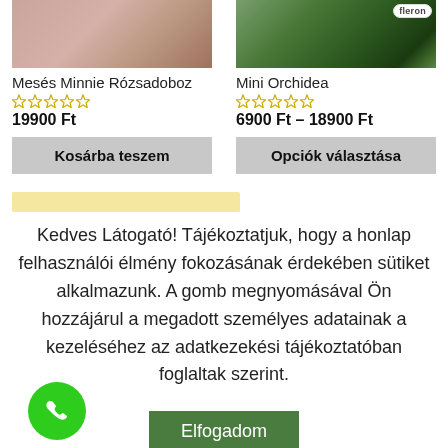[Figure (photo): Product photo of Mesés Minnie Rózsadoboz (rose box), top-cropped]
Mesés Minnie Rózsadoboz
★★★★★ (empty stars rating)
19900 Ft
Kosárba teszem
[Figure (photo): Product photo of Mini Orchidea with fleron badge, top-cropped]
Mini Orchidea
★★★★★ (empty stars rating)
6900 Ft – 18900 Ft
Opciók választása
[Figure (screenshot): Partial yellow banner visible at bottom of product section]
Kedves Látogató! Tájékoztatjuk, hogy a honlap felhasználói élmény fokozásának érdekében sütiket alkalmazunk. A gomb megnyomásával Ön hozzájárul a megadott személyes adatainak a kezeléséhez az adatkezekési tájékoztatóban foglaltak szerint.
Elfogadom
Adatkezelési tájékoztató